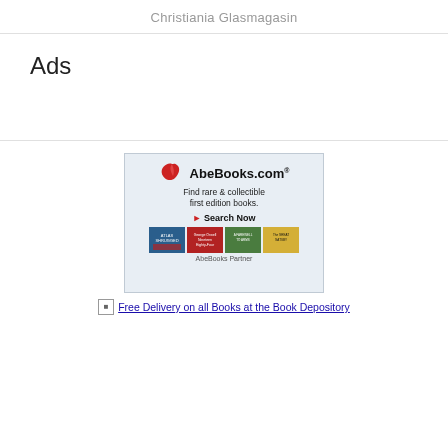Christiania Glasmagasin
Ads
[Figure (illustration): AbeBooks.com advertisement banner: red bird logo, tagline 'Find rare & collectible first edition books.', Search Now button, and four book covers (Atlas Shrugged, George Orwell Nineteen [Eighty-Four], A Farewell to Arms, The Great Gatsby). Footer: 'AbeBooks Partner'.]
Free Delivery on all Books at the Book Depository